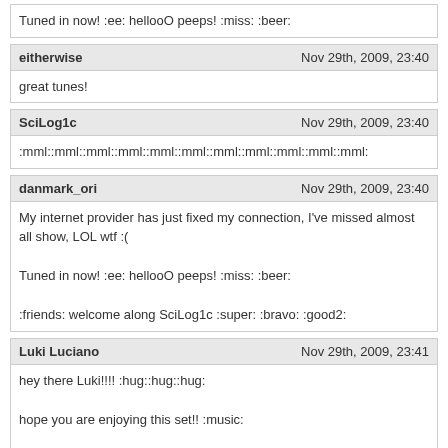Tuned in now! :ee: hellooO peeps! :miss: :beer:
eitherwise
Nov 29th, 2009, 23:40
great tunes!
SciLog1c
Nov 29th, 2009, 23:40
:mml::mml::mml::mml::mml::mml::mml::mml::mml::mml::mml:
danmark_ori
Nov 29th, 2009, 23:40
My internet provider has just fixed my connection, I've missed almost all show, LOL wtf :(

Tuned in now! :ee: hellooO peeps! :miss: :beer:

:friends: welcome along SciLog1c :super: :bravo: :good2:
Luki Luciano
Nov 29th, 2009, 23:41
hey there Luki!!!! :hug::hug::hug:

hope you are enjoying this set!! :music:

of course great set :music:
danmark_ori
Nov 29th, 2009, 23:45
Tracklist Shane Halcon: :book: